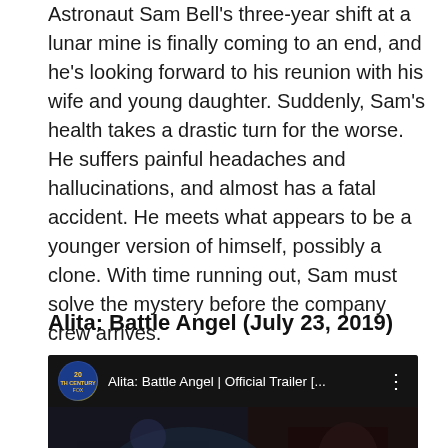Astronaut Sam Bell's three-year shift at a lunar mine is finally coming to an end, and he's looking forward to his reunion with his wife and young daughter. Suddenly, Sam's health takes a drastic turn for the worse. He suffers painful headaches and hallucinations, and almost has a fatal accident. He meets what appears to be a younger version of himself, possibly a clone. With time running out, Sam must solve the mystery before the company crew arrives.
Alita: Battle Angel (July 23, 2019)
[Figure (screenshot): YouTube embedded video thumbnail for 'Alita: Battle Angel | Official Trailer [...]' from 20th Century Fox channel. Shows the movie title 'ALITA BATTLE ANGEL' in stylized font with a dark action scene background featuring the character Alita. A red YouTube play button is visible at the bottom center.]